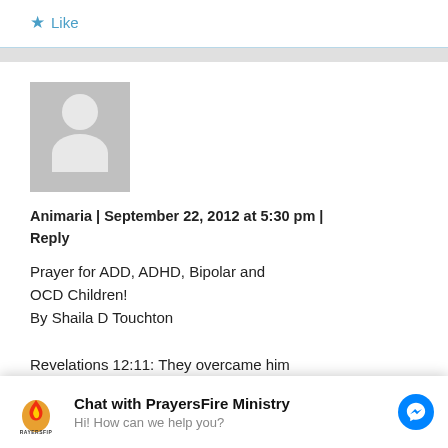Like
[Figure (screenshot): Gray avatar placeholder image showing a silhouette of a person (head and shoulders) on a light gray background]
Animaria | September 22, 2012 at 5:30 pm | Reply
Prayer for ADD, ADHD, Bipolar and OCD Children!
By Shaila D Touchton

Revelations 12:11: They overcame him
[Figure (logo): PrayersFire Ministry logo with flame graphic and text RAYERSFIP]
Chat with PrayersFire Ministry
Hi! How can we help you?
love their lives so much as to shrink